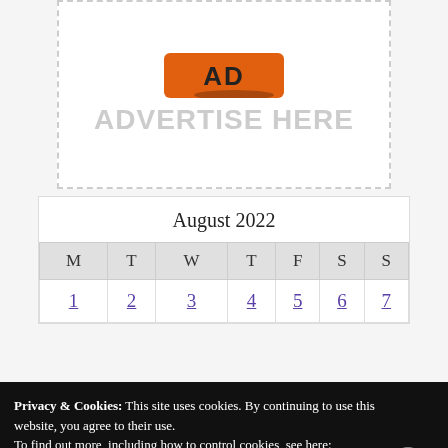[Figure (illustration): Advertisement placeholder box with dashed border, orange logo graphic at top and 'ADVERTISE HERE' text in gray]
| M | T | W | T | F | S | S |
| --- | --- | --- | --- | --- | --- | --- |
| 1 | 2 | 3 | 4 | 5 | 6 | 7 |
Privacy & Cookies: This site uses cookies. By continuing to use this website, you agree to their use. To find out more, including how to control cookies, see here: Cookie Policy
Close and Accept